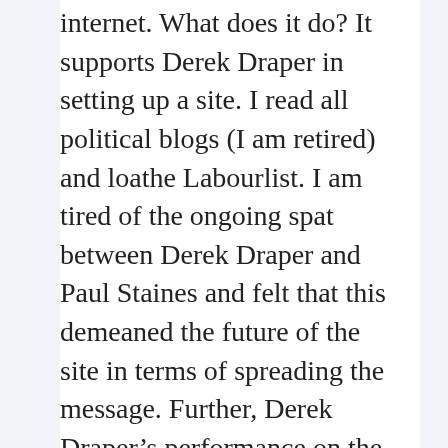internet. What does it do? It supports Derek Draper in setting up a site. I read all political blogs (I am retired) and loathe Labourlist. I am tired of the ongoing spat between Derek Draper and Paul Staines and felt that this demeaned the future of the site in terms of spreading the message. Further, Derek Draper's performance on the media does not serve the party well. He is now on You Tube lying about the existence of these E Mails. It is now time that the party